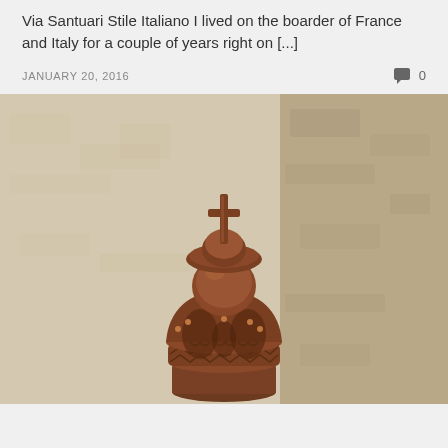Via Santuari Stile Italiano I lived on the boarder of France and Italy for a couple of years right on [...]
JANUARY 20, 2016
0
[Figure (photo): Close-up photograph of an ornate bronze or wooden crown finial with a cross on top, against a stone wall background. The crown has decorative carved details including fleur-de-lis patterns and embossed dots.]